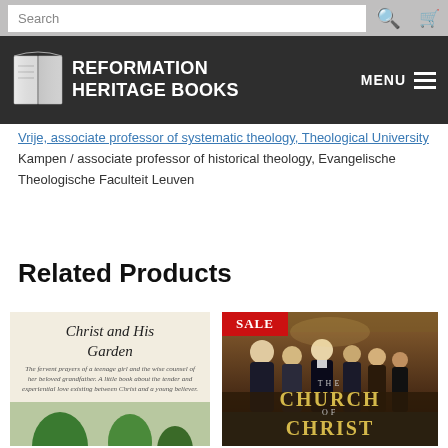Search
[Figure (screenshot): Reformation Heritage Books website header with logo and MENU button]
Vrije, associate professor of systematic theology, Theological University Kampen / associate professor of historical theology, Evangelische Theologische Faculteit Leuven
Related Products
[Figure (photo): Book cover: Christ and His Garden — italic title with subtitle text and garden illustration]
[Figure (photo): Book cover: The Church of Christ — with SALE badge and painting of church scene]